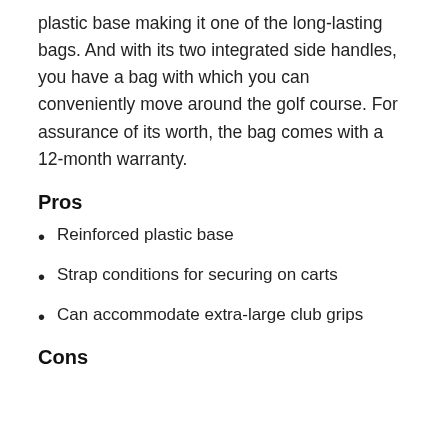plastic base making it one of the long-lasting bags. And with its two integrated side handles, you have a bag with which you can conveniently move around the golf course. For assurance of its worth, the bag comes with a 12-month warranty.
Pros
Reinforced plastic base
Strap conditions for securing on carts
Can accommodate extra-large club grips
Cons